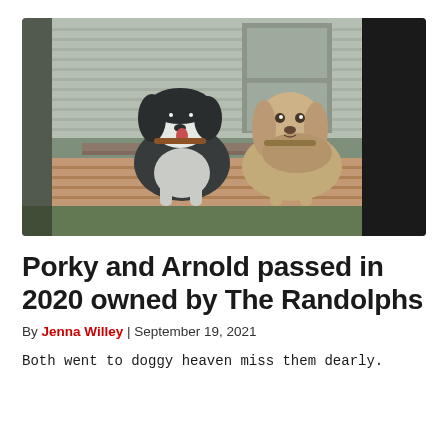[Figure (photo): Two dogs on a wooden deck outside a house, viewed through a partially open door. The left dog is black and white (appears to be a large breed), and the right dog is tan/brown (appears to be a basset hound or similar). The right side of the image is partially obscured by a dark door frame.]
Porky and Arnold passed in 2020 owned by The Randolphs
By Jenna Willey | September 19, 2021
Both went to doggy heaven miss them dearly.